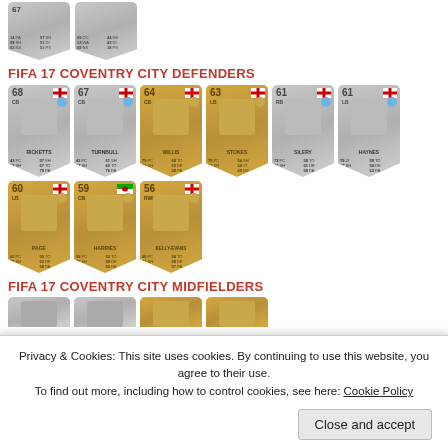[Figure (other): Partial FIFA 17 player cards at top of page (cut off)]
FIFA 17 COVENTRY CITY DEFENDERS
[Figure (other): FIFA 17 Coventry City Defenders player cards: RICKETTS (68 CB, Wales), TURNBULL (67 CB, England), WILLIS (64 CB, England), STOKES (63 LB, England), SILERY (61 RB, England), HAYNES (61 LB, England), PAGE (60 LB, England), HARRIES (59 CB, Wales), KELLY-EVANS (56 RWB, England)]
FIFA 17 COVENTRY CITY MIDFIELDERS
[Figure (other): Partial FIFA 17 Coventry City Midfielders player cards (cut off at bottom)]
Privacy & Cookies: This site uses cookies. By continuing to use this website, you agree to their use.
To find out more, including how to control cookies, see here: Cookie Policy
Close and accept